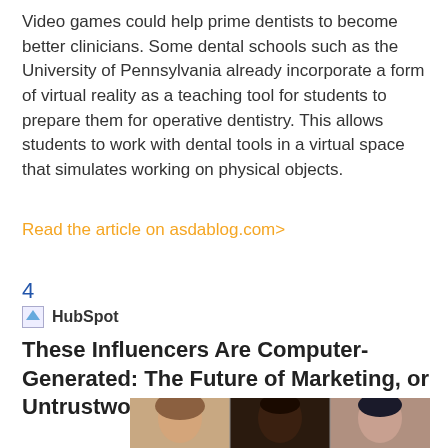Video games could help prime dentists to become better clinicians. Some dental schools such as the University of Pennsylvania already incorporate a form of virtual reality as a teaching tool for students to prepare them for operative dentistry. This allows students to work with dental tools in a virtual space that simulates working on physical objects.
Read the article on asdablog.com>
4
HubSpot
These Influencers Are Computer-Generated: The Future of Marketing, or Untrustworthy Advertising?
[Figure (photo): Three computer-generated human faces / virtual influencers shown from the shoulders up against a light background.]